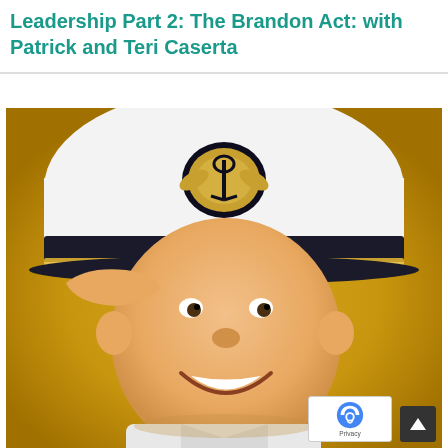Leadership Part 2: The Brandon Act: with Patrick and Teri Caserta
[Figure (photo): A young smiling boy dressed in a white naval captain's uniform, saluting with his right hand while wearing a white captain's hat with a black band, gold stripe, and gold badge/emblem. The background is a warm golden-yellow gradient. A reCAPTCHA privacy badge and a scroll-to-top button are visible in the lower right corner.]